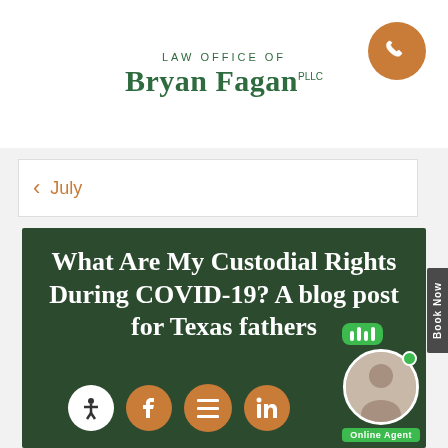LAW OFFICE OF Bryan Fagan PLLC
July
[Figure (screenshot): Blog post hero image with dark green background. Title text: 'What Are My Custodial Rights During COVID-19? A blog post for Texas fathers'. Social media icons (accessibility, Facebook, menu, LinkedIn) at the bottom. Online chat agent with photo in bottom right corner. Book Now tab on right side.]